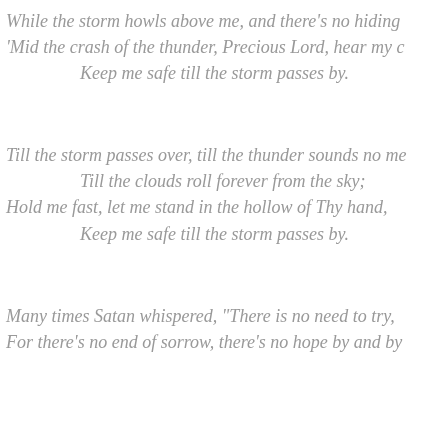While the storm howls above me, and there's no hiding
'Mid the crash of the thunder, Precious Lord, hear my c
Keep me safe till the storm passes by.
Till the storm passes over, till the thunder sounds no me
Till the clouds roll forever from the sky;
Hold me fast, let me stand in the hollow of Thy hand,
Keep me safe till the storm passes by.
Many times Satan whispered, "There is no need to try,
For there's no end of sorrow, there's no hope by and by